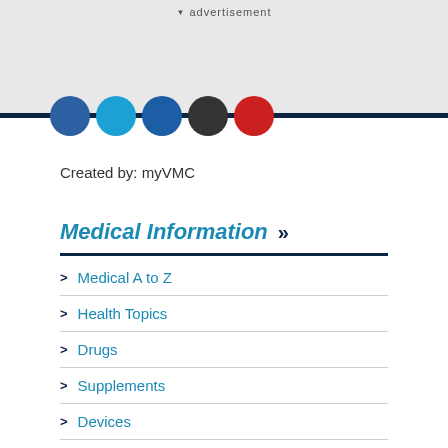advertisement
[Figure (illustration): Social media circle icons: Facebook (dark blue), Twitter (light blue), LinkedIn (blue), another dark circle, and a red circle]
Created by: myVMC
Medical Information >>
Medical A to Z
Health Topics
Drugs
Supplements
Devices
Diseases
Anatomy